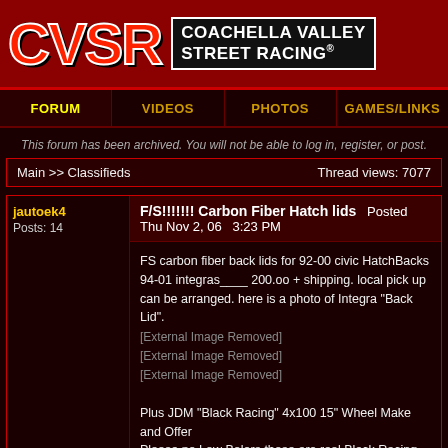[Figure (logo): CVSR Coachella Valley Street Racing logo with red CVSR letters and black/white site name banner]
FORUM | VIDEOS | PHOTOS | GAMES/LINKS
This forum has been archived. You will not be able to log in, register, or post.
Main >> Classifieds    Thread views: 7077
jautoek4
Posts: 14
F/S!!!!!!! Carbon Fiber Hatch lids   Posted Thu Nov 2, 06   3:23 PM
FS carbon fiber back lids for 92-00 civic HatchBacks
94-01 integras____ 200.oo + shipping. local pick up can be arranged. here is a photo of Integra "Back Lid".
[External Image Removed]
[External Image Removed]
[External Image Removed]

Plus JDM "Black Racing" 4x100 15" Wheel Make and Offer
Please no Low Balers these are real Black Racing Wheels.